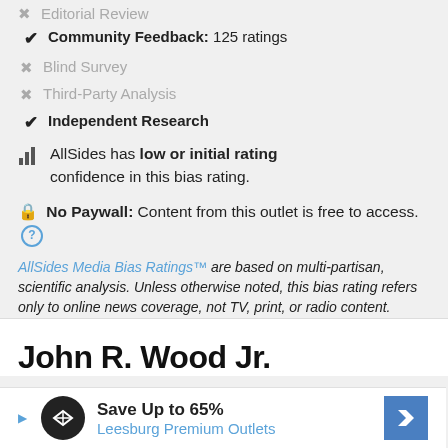✗ Editorial Review
✓ Community Feedback: 125 ratings
✗ Blind Survey
✗ Third-Party Analysis
✓ Independent Research
AllSides has low or initial rating confidence in this bias rating.
No Paywall: Content from this outlet is free to access.
AllSides Media Bias Ratings™ are based on multi-partisan, scientific analysis. Unless otherwise noted, this bias rating refers only to online news coverage, not TV, print, or radio content.
John R. Wood Jr.
Save Up to 65% Leesburg Premium Outlets